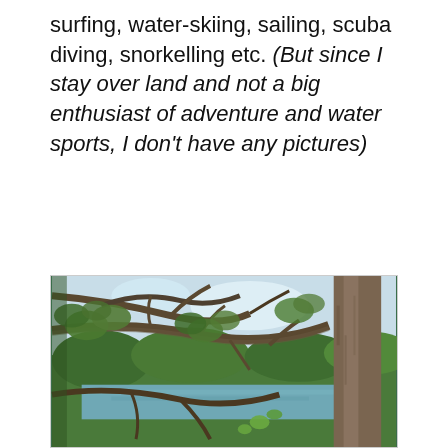surfing, water-skiing, sailing, scuba diving, snorkelling etc. (But since I stay over land and not a big enthusiast of adventure and water sports, I don't have any pictures)
[Figure (photo): Outdoor nature photo showing tropical trees with gnarled branches in the foreground, a body of water (river or lake) visible in the middle ground, and lush green vegetation and a partly cloudy sky in the background.]